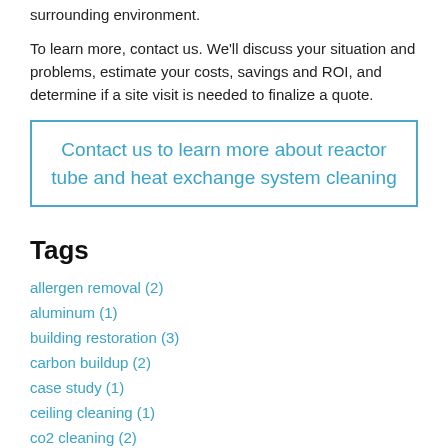surrounding environment.
To learn more, contact us. We'll discuss your situation and problems, estimate your costs, savings and ROI, and determine if a site visit is needed to finalize a quote.
Contact us to learn more about reactor tube and heat exchange system cleaning
Tags
allergen removal (2)
aluminum (1)
building restoration (3)
carbon buildup (2)
case study (1)
ceiling cleaning (1)
co2 cleaning (2)
coffee roasting (2)
compressor cleaning (1)